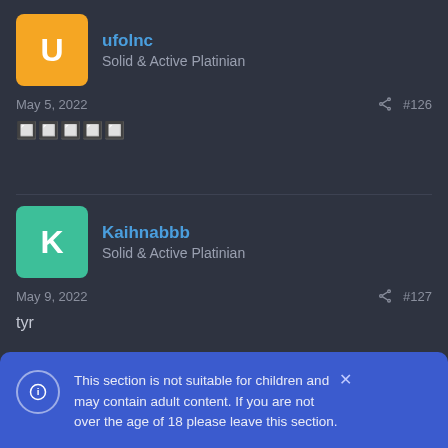ufolnc
Solid & Active Platinian
May 5, 2022   #126
🔲🔲🔲🔲🔲
Kaihnabbb
Solid & Active Platinian
May 9, 2022   #127
tyr
This section is not suitable for children and may contain adult content. If you are not over the age of 18 please leave this section.